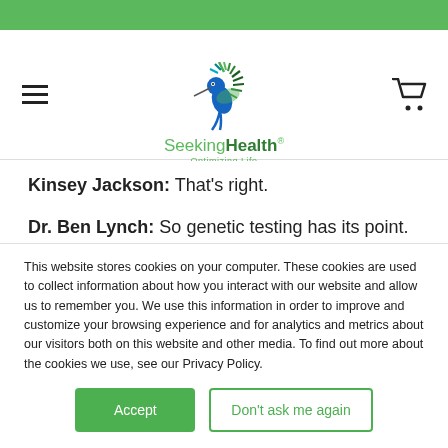[Figure (logo): Seeking Health logo with hummingbird bird graphic, text 'SeekingHealth® Optimizing Life']
Kinsey Jackson: That's right.
Dr. Ben Lynch: So genetic testing has its point.
What I want to emphasize here is you
This website stores cookies on your computer. These cookies are used to collect information about how you interact with our website and allow us to remember you. We use this information in order to improve and customize your browsing experience and for analytics and metrics about our visitors both on this website and other media. To find out more about the cookies we use, see our Privacy Policy.